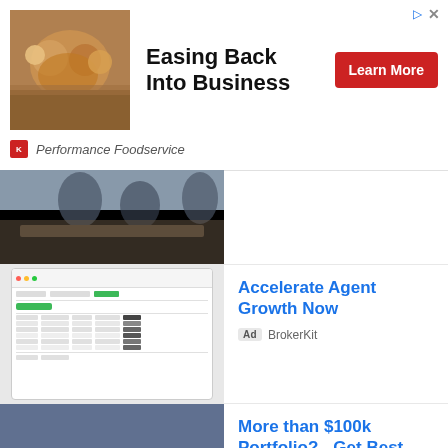[Figure (infographic): Top banner ad showing food/restaurant image, text 'Easing Back Into Business', Learn More button, and Performance Foodservice branding]
[Figure (screenshot): Ad row with blurred meeting/people image and back arrow UI element]
Accelerate Agent Growth Now
Ad  BrokerKit
[Figure (screenshot): BrokerKit dashboard interface showing table/spreadsheet data]
More than $100k Portfolio? - Get Best Financial Advisors
Ad  compare.paladinregistry.com
[Figure (photo): Person walking up wooden blocks/stairs, financial advisor metaphor image]
Roof Installation & Repair
[Figure (photo): House with roof visible, green trees]